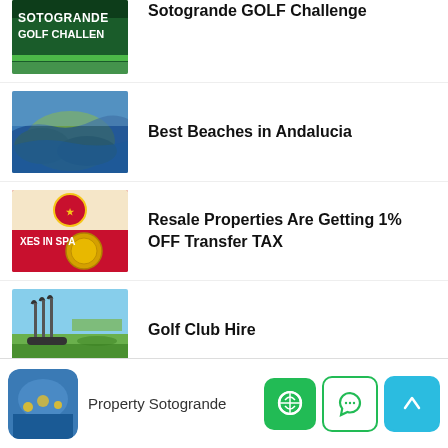Sotogrande GOLF Challenge
Best Beaches in Andalucia
Resale Properties Are Getting 1% OFF Transfer TAX
Golf Club Hire
Golf Holidays Costa Del Sol
Property Sotogrande